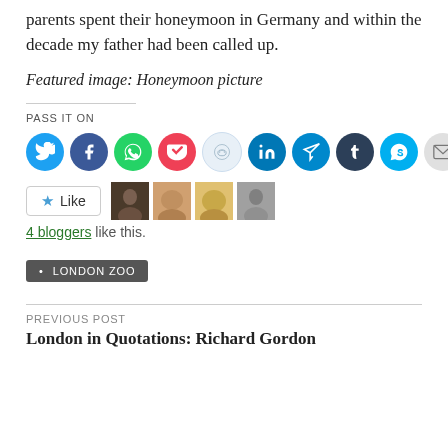parents spent their honeymoon in Germany and within the decade my father had been called up.
Featured image: Honeymoon picture
PASS IT ON
[Figure (infographic): Row of social media sharing buttons: Twitter (blue), Facebook (blue), WhatsApp (green), Pocket (red), Reddit (light blue), LinkedIn (dark blue), Telegram (teal), Tumblr (dark navy), Skype (light blue), Email (grey), Print (grey)]
[Figure (infographic): Like button with star icon, followed by four small circular avatar photos of bloggers]
4 bloggers like this.
LONDON ZOO
PREVIOUS POST
London in Quotations: Richard Gordon